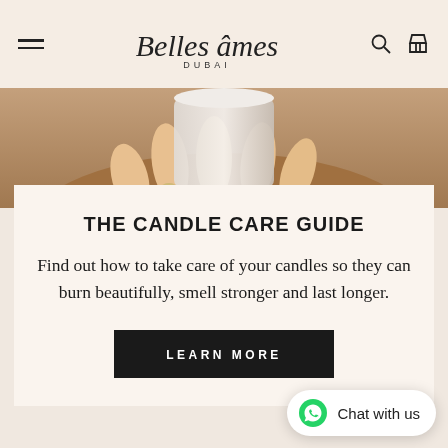Belles âmes DUBAI — navigation header with hamburger menu, search, and cart icons
[Figure (photo): Close-up of a hand holding a white candle jar against a warm tan/beige background]
THE CANDLE CARE GUIDE
Find out how to take care of your candles so they can burn beautifully, smell stronger and last longer.
LEARN MORE
Chat with us